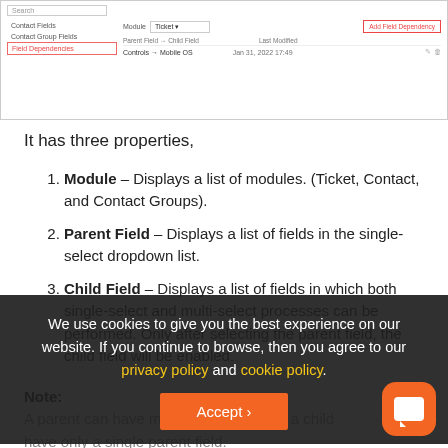[Figure (screenshot): UI screenshot showing Field Dependencies section with Module: Ticket dropdown, Add Field Dependency button (red border), Contact Fields, Contact Group Fields, Field Dependencies (highlighted in red) in left nav, and a table row showing Controls → Mobile OS, Jan 31, 2022 17:49]
It has three properties,
Module – Displays a list of modules. (Ticket, Contact, and Contact Groups).
Parent Field – Displays a list of fields in the single-select dropdown list.
Child Field – Displays a list of fields in which both single-select and multi-select processes can be performed. Only after selecting the parent field, the child field will be enabled.
Note:
A parent can have multiple children, but a child have only a single parent field.
We use cookies to give you the best experience on our website. If you continue to browse, then you agree to our privacy policy and cookie policy.